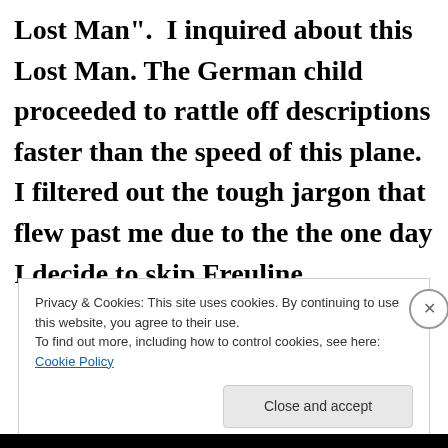Lost Man".  I inquired about this Lost Man. The German child proceeded to rattle off descriptions faster than the speed of this plane. I filtered out the tough jargon that flew past me due to the the one day I decide to skip Freuline
Privacy & Cookies: This site uses cookies. By continuing to use this website, you agree to their use.
To find out more, including how to control cookies, see here: Cookie Policy
Close and accept